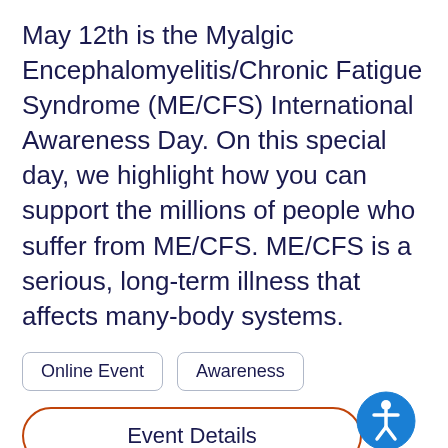May 12th is the Myalgic Encephalomyelitis/Chronic Fatigue Syndrome (ME/CFS) International Awareness Day. On this special day, we highlight how you can support the millions of people who suffer from ME/CFS. ME/CFS is a serious, long-term illness that affects many-body systems.
Online Event
Awareness
Event Details